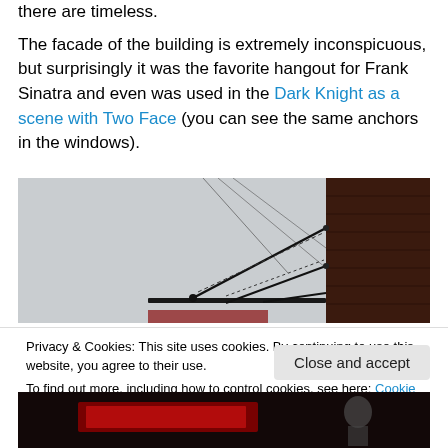there are timeless.
The facade of the building is extremely inconspicuous, but surprisingly it was the favorite hangout for Frank Sinatra and even was used in the Dark Knight as a scene with Two Face (you can see the same anchors in the windows).
[Figure (photo): Photograph showing wire/cable anchors attached to a building facade against a grey sky, with a dark brown brick wall visible on the right side.]
Privacy & Cookies: This site uses cookies. By continuing to use this website, you agree to their use.
To find out more, including how to control cookies, see here: Cookie Policy
Close and accept
[Figure (photo): Partial bottom image showing a dark scene with red illuminated signage and a person partially visible.]